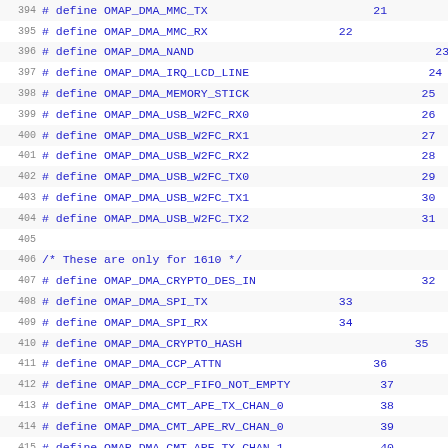394 # define OMAP_DMA_MMC_TX    21
395 # define OMAP_DMA_MMC_RX    22
396 # define OMAP_DMA_NAND    23
397 # define OMAP_DMA_IRQ_LCD_LINE    24
398 # define OMAP_DMA_MEMORY_STICK    25
399 # define OMAP_DMA_USB_W2FC_RX0    26
400 # define OMAP_DMA_USB_W2FC_RX1    27
401 # define OMAP_DMA_USB_W2FC_RX2    28
402 # define OMAP_DMA_USB_W2FC_TX0    29
403 # define OMAP_DMA_USB_W2FC_TX1    30
404 # define OMAP_DMA_USB_W2FC_TX2    31
405
406 /* These are only for 1610 */
407 # define OMAP_DMA_CRYPTO_DES_IN    32
408 # define OMAP_DMA_SPI_TX    33
409 # define OMAP_DMA_SPI_RX    34
410 # define OMAP_DMA_CRYPTO_HASH    35
411 # define OMAP_DMA_CCP_ATTN    36
412 # define OMAP_DMA_CCP_FIFO_NOT_EMPTY    37
413 # define OMAP_DMA_CMT_APE_TX_CHAN_0    38
414 # define OMAP_DMA_CMT_APE_RV_CHAN_0    39
415 # define OMAP_DMA_CMT_APE_TX_CHAN_1    40
416 # define OMAP_DMA_CMT_APE_RV_CHAN_1    41
417 # define OMAP_DMA_CMT_APE_TX_CHAN_2    42
418 # define OMAP_DMA_CMT_APE_RV_CHAN_2    43
419 # define OMAP_DMA_CMT_APE_TX_CHAN_3    44